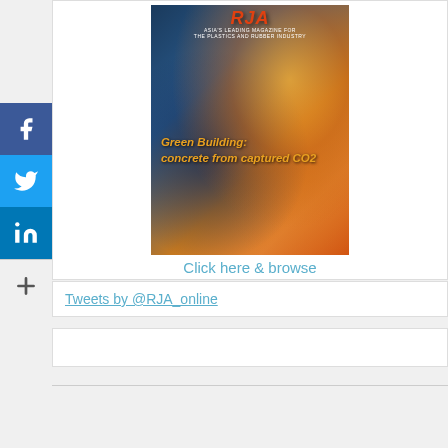[Figure (photo): Magazine cover for RJA Asia's leading magazine for the plastics and rubber industry, showing industrial fire/smoke imagery with text 'Green Building: concrete from captured CO2']
Click here & browse
Tweets by @RJA_online